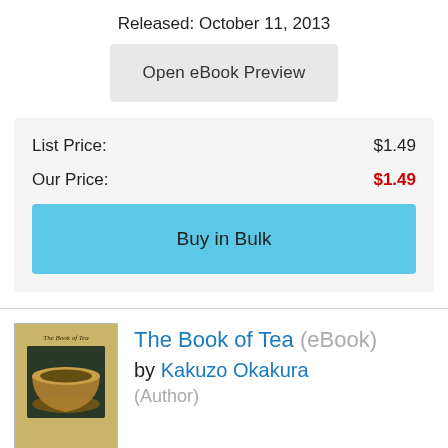Released: October 11, 2013
Open eBook Preview
| Label | Price |
| --- | --- |
| List Price: | $1.49 |
| Our Price: | $1.49 |
Buy in Bulk
[Figure (illustration): Book cover of 'The Book of Tea' by Kakuzo Okakura, tan/gold background with image of a ceramic tea bowl]
The Book of Tea (eBook)
by Kakuzo Okakura (Author)